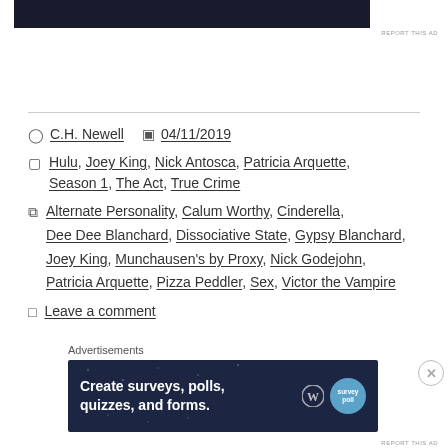[Figure (screenshot): Dark advertisement banner at top of page, partially visible]
REPORT THIS AD
C.H. Newell   04/11/2019
Hulu, Joey King, Nick Antosca, Patricia Arquette, Season 1, The Act, True Crime
Alternate Personality, Calum Worthy, Cinderella, Dee Dee Blanchard, Dissociative State, Gypsy Blanchard, Joey King, Munchausen's by Proxy, Nick Godejohn, Patricia Arquette, Pizza Peddler, Sex, Victor the Vampire
Leave a comment
Advertisements
[Figure (screenshot): Advertisement banner: Create surveys, polls, quizzes, and forms. with WordPress and survey logos]
REPORT THIS AD